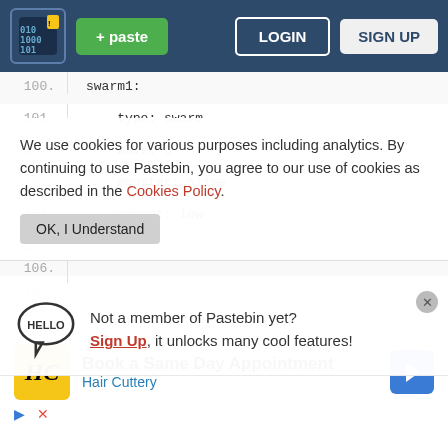[Figure (screenshot): Pastebin website header navigation bar with logo, green paste button, LOGIN and SIGN UP buttons on dark blue background]
100.    swarm1:
101.        type: swarm
102.        wave: 6
103.        monster: slime
104.        amount: low
We use cookies for various purposes including analytics. By continuing to use Pastebin, you agree to our use of cookies as described in the Cookies Policy.  OK, I Understand
109.    health: low
Not a member of Pastebin yet? Sign Up, it unlocks many cool features!
110.
ne
111.    onfrade1:
[Figure (screenshot): Advertisement: Book a Same Day Appointment - Hair Cuttery, with HC logo and navigation arrow icon]